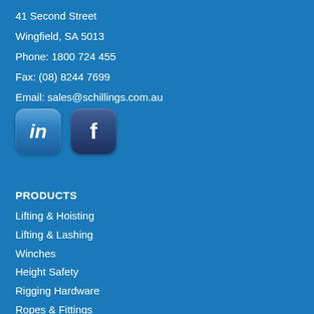41 Second Street
Wingfield, SA 5013
Phone: 1800 724 455
Fax: (08) 8244 7699
Email: sales@schillings.com.au
[Figure (logo): LinkedIn icon (blue rounded square with 'in' text) and Facebook icon (dark blue rounded square with 'f' text)]
PRODUCTS
Lifting  &  Hoisting
Lifting  &  Lashing
Winches
Height Safety
Rigging Hardware
Ropes & Fittings
Transport  &  4WD
General